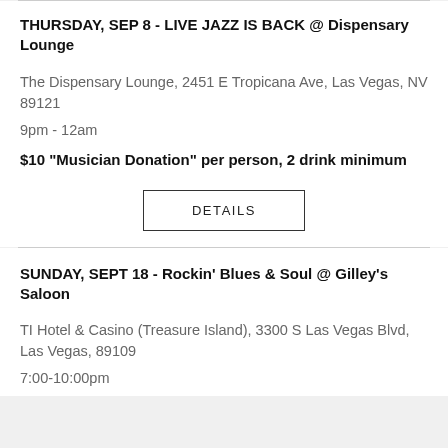THURSDAY, SEP 8 - LIVE JAZZ IS BACK @ Dispensary Lounge
The Dispensary Lounge, 2451 E Tropicana Ave, Las Vegas, NV 89121
9pm - 12am
$10 "Musician Donation" per person, 2 drink minimum
DETAILS
SUNDAY, SEPT 18 - Rockin' Blues & Soul @ Gilley's Saloon
TI Hotel & Casino (Treasure Island), 3300 S Las Vegas Blvd, Las Vegas, 89109
7:00-10:00pm